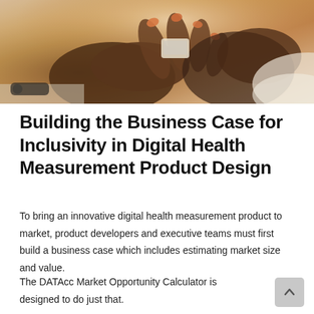[Figure (photo): Close-up photo of dark-skinned hands using a small digital health measurement device, person wearing a white blouse, soft warm lighting]
Building the Business Case for Inclusivity in Digital Health Measurement Product Design
To bring an innovative digital health measurement product to market, product developers and executive teams must first build a business case which includes estimating market size and value.
The DATAcc Market Opportunity Calculator is designed to do just that.